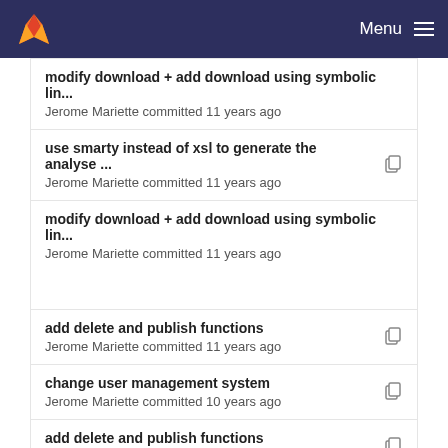GitLab Menu
modify download + add download using symbolic lin...
Jerome Mariette committed 11 years ago
use smarty instead of xsl to generate the analyse ...
Jerome Mariette committed 11 years ago
modify download + add download using symbolic lin...
Jerome Mariette committed 11 years ago
add delete and publish functions
Jerome Mariette committed 11 years ago
change user management system
Jerome Mariette committed 10 years ago
add delete and publish functions
Jerome Mariette committed 11 years ago